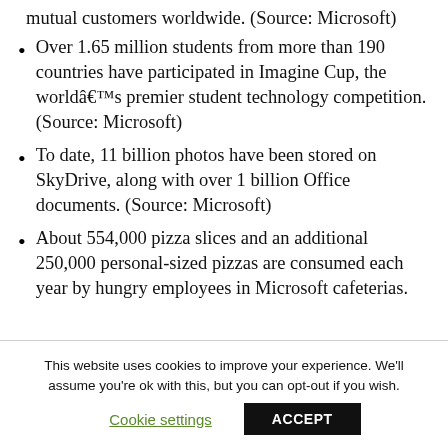mutual customers worldwide. (Source: Microsoft)
Over 1.65 million students from more than 190 countries have participated in Imagine Cup, the worldâs premier student technology competition. (Source: Microsoft)
To date, 11 billion photos have been stored on SkyDrive, along with over 1 billion Office documents. (Source: Microsoft)
About 554,000 pizza slices and an additional 250,000 personal-sized pizzas are consumed each year by hungry employees in Microsoft cafeterias.
This website uses cookies to improve your experience. We'll assume you're ok with this, but you can opt-out if you wish.
Cookie settings   ACCEPT